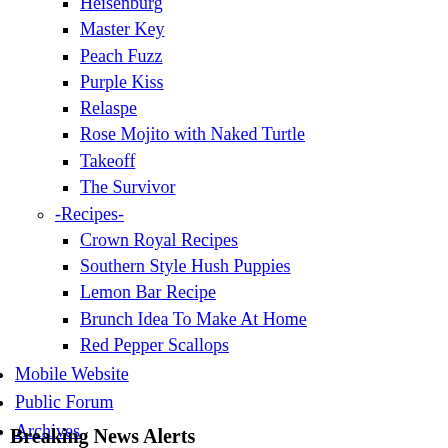Heisenburg
Master Key
Peach Fuzz
Purple Kiss
Relaspe
Rose Mojito with Naked Turtle
Takeoff
The Survivor
-Recipes-
Crown Royal Recipes
Southern Style Hush Puppies
Lemon Bar Recipe
Brunch Idea To Make At Home
Red Pepper Scallops
Mobile Website
Public Forum
Archives
Breaking News Alerts